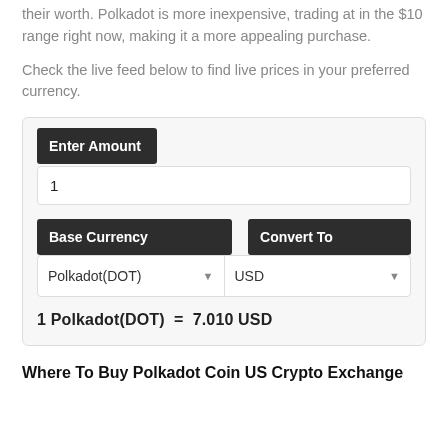their worth. Polkadot is more inexpensive, trading at in the $10 range right now, making it a more appealing purchase.
Check the live feed below to find live prices in your preferred currency.
[Figure (screenshot): Currency converter widget showing Enter Amount field with value 1, Base Currency dropdown set to Polkadot(DOT), Convert To dropdown set to USD, and result: 1 Polkadot(DOT) = 7.010 USD]
Where To Buy Polkadot Coin US Crypto Exchange